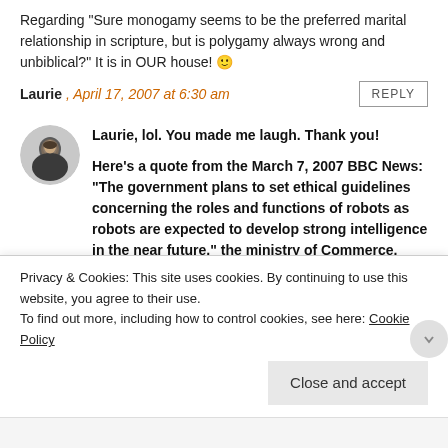Regarding “Sure monogamy seems to be the preferred marital relationship in scripture, but is polygamy always wrong and unbiblical?” It is in OUR house! 🙂
Laurie , April 17, 2007 at 6:30 am
REPLY
[Figure (photo): Small circular avatar photo of a person in dark clothing]
Laurie, lol. You made me laugh. Thank you!

Here’s a quote from the March 7, 2007 BBC News: “The government plans to set ethical guidelines concerning the roles and functions of robots as robots are expected to develop strong intelligence in the near future,” the ministry of Commerce, Industry and Energy
Privacy & Cookies: This site uses cookies. By continuing to use this website, you agree to their use.
To find out more, including how to control cookies, see here: Cookie Policy
Close and accept